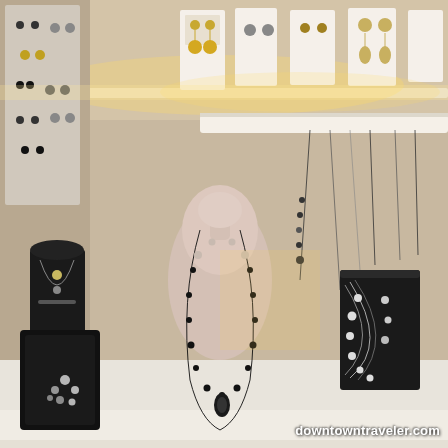[Figure (photo): Interior photo of a jewelry display booth or store. A white mannequin bust in the center displays a long black beaded necklace. Behind it is a horizontal display bar holding multiple necklaces with beads and pendants. To the left are black velvet display stands holding bracelets and jewelry. To the right is a large black velvet necklace stand displaying a multi-strand silver and black necklace. In the foreground are black display trays with bracelets (colorful and pearl-style) and small decorative items. Earrings are displayed on white cards under warm lighting at the top of the image. The setting appears to be a craft fair or boutique pop-up shop.]
downtowntraveler.com